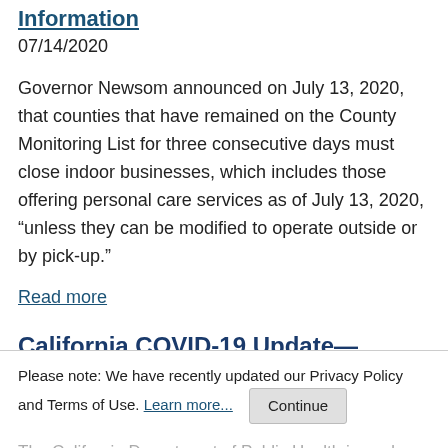Information
07/14/2020
Governor Newsom announced on July 13, 2020, that counties that have remained on the County Monitoring List for three consecutive days must close indoor businesses, which includes those offering personal care services as of July 13, 2020, “unless they can be modified to operate outside or by pick-up.”
Read more
California COVID-19 Update—Updated Guidelines Released
07/14/2020
The California Department of Public Health issued new
Please note: We have recently updated our Privacy Policy and Terms of Use. Learn more... Continue